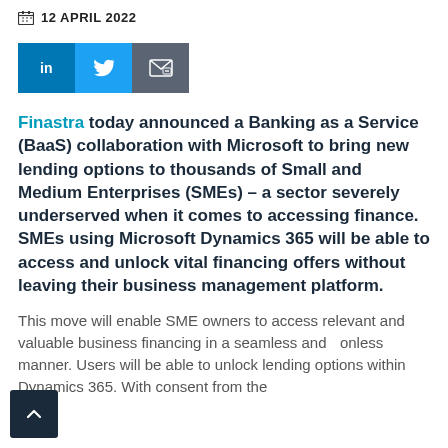12 APRIL 2022
[Figure (infographic): Social sharing buttons: LinkedIn (blue), Twitter (light blue), Email (grey)]
Finastra today announced a Banking as a Service (BaaS) collaboration with Microsoft to bring new lending options to thousands of Small and Medium Enterprises (SMEs) – a sector severely underserved when it comes to accessing finance. SMEs using Microsoft Dynamics 365 will be able to access and unlock vital financing offers without leaving their business management platform.
This move will enable SME owners to access relevant and valuable business financing in a seamless and frictionless manner. Users will be able to unlock lending options within Dynamics 365. With consent from the